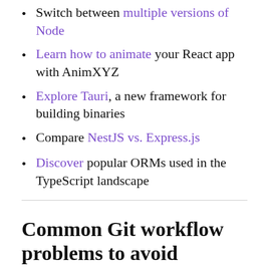Switch between multiple versions of Node
Learn how to animate your React app with AnimXYZ
Explore Tauri, a new framework for building binaries
Compare NestJS vs. Express.js
Discover popular ORMs used in the TypeScript landscape
Common Git workflow problems to avoid